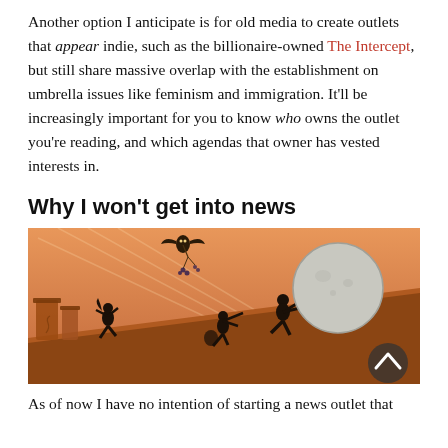Another option I anticipate is for old media to create outlets that appear indie, such as the billionaire-owned The Intercept, but still share massive overlap with the establishment on umbrella issues like feminism and immigration. It'll be increasingly important for you to know who owns the outlet you're reading, and which agendas that owner has vested interests in.
Why I won't get into news
[Figure (illustration): Illustration in ancient Greek pottery style with orange/terracotta background. Silhouette figures in black push a large boulder uphill (Sisyphean motif). An owl flies above carrying a small branch. Ruins or columns visible on the left. A circular arrow-up button (scroll-to-top) is visible in the lower right corner.]
As of now I have no intention of starting a news outlet that